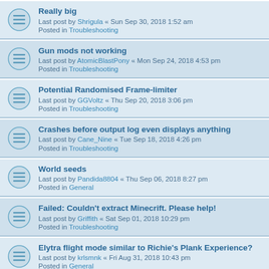Really big
Last post by Shrigula « Sun Sep 30, 2018 1:52 am
Posted in Troubleshooting
Gun mods not working
Last post by AtomicBlastPony « Mon Sep 24, 2018 4:53 pm
Posted in Troubleshooting
Potential Randomised Frame-limiter
Last post by GGVoltz « Thu Sep 20, 2018 3:06 pm
Posted in Troubleshooting
Crashes before output log even displays anything
Last post by Cane_Nine « Tue Sep 18, 2018 4:26 pm
Posted in Troubleshooting
World seeds
Last post by Pandida8804 « Thu Sep 06, 2018 8:27 pm
Posted in General
Failed: Couldn't extract Minecrift. Please help!
Last post by Griffith « Sat Sep 01, 2018 10:29 pm
Posted in Troubleshooting
Elytra flight mode similar to Richie's Plank Experience?
Last post by krlsmnk « Fri Aug 31, 2018 10:43 pm
Posted in General
Broken Creative Page (Modded Server)
Last post by RickyPortal6 « Thu Aug 23, 2018 7:32 pm
Posted in Troubleshooting
Roomscale Trident?
Last post by Manalocke « Sat Aug 18, 2018 11:51 pm